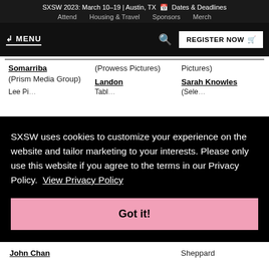SXSW 2023: March 10–19 | Austin, TX 📅 Dates & Deadlines   Attend   Housing & Travel   Sponsors   Merch
↙ MENU   🔍   REGISTER NOW 🛒
Somarriba (Prism Media Group)   (Prowess Pictures)   Landon   Pictures)   Sarah Knowles
SXSW uses cookies to customize your experience on the website and tailor marketing to your interests. Please only use this website if you agree to the terms in our Privacy Policy. View Privacy Policy
Got it!
John Chan   Sheppard